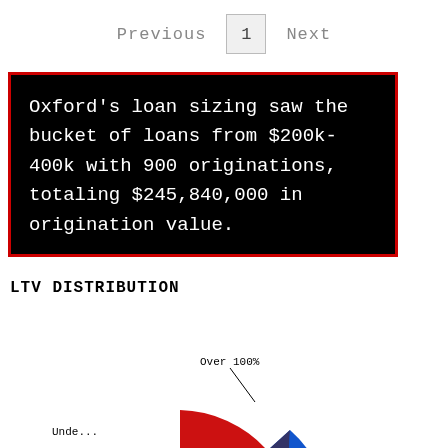Previous  1  Next
Oxford's loan sizing saw the bucket of loans from $200k-400k with 900 originations, totaling $245,840,000 in origination value.
LTV DISTRIBUTION
[Figure (pie-chart): Partial pie chart visible at bottom of page showing LTV distribution with labels 'Over 100%' and 'Unde...' visible]